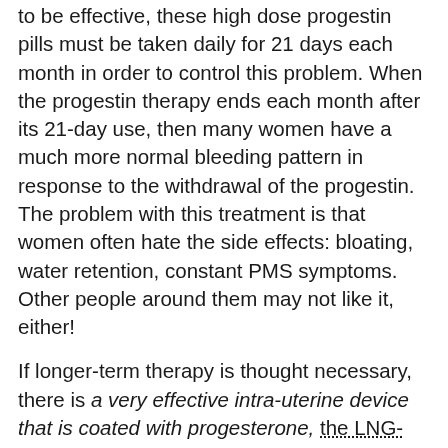to be effective, these high dose progestin pills must be taken daily for 21 days each month in order to control this problem. When the progestin therapy ends each month after its 21-day use, then many women have a much more normal bleeding pattern in response to the withdrawal of the progestin. The problem with this treatment is that women often hate the side effects: bloating, water retention, constant PMS symptoms. Other people around them may not like it, either!
If longer-term therapy is thought necessary, there is a very effective intra-uterine device that is coated with progesterone, the LNG-IUS, (Mirena). This delivery system for progesterone